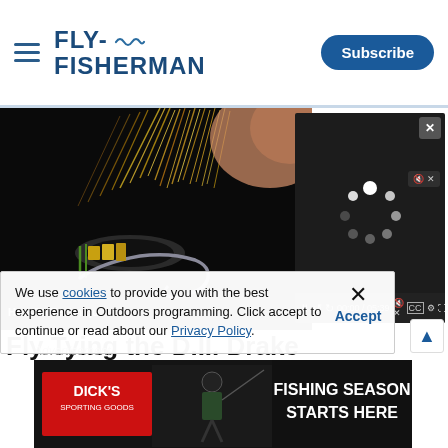FLY FISHERMAN | Subscribe
[Figure (screenshot): Fly Fisherman website screenshot showing a fly-tying video player with loading spinner, How-To/Techniques label, article title 'Fly Tying the D.II. Drake', a cookie consent banner, an advertisement for Dick's Sporting Goods 'FISHING SEASON STARTS HERE', and a Subscribe button.]
We use cookies to provide you with the best experience in Outdoors programming. Click accept to continue or read about our Privacy Policy.
Accept
Advertisement
Fly Tying the D.II. Drake